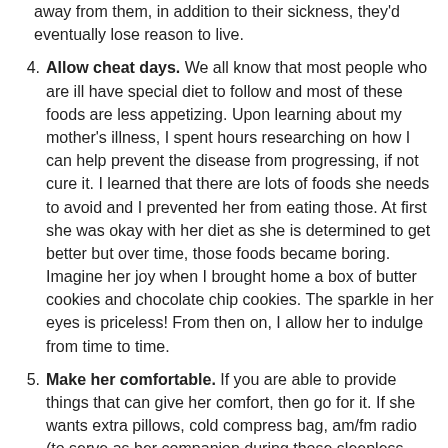away from them, in addition to their sickness, they'd eventually lose reason to live.
Allow cheat days. We all know that most people who are ill have special diet to follow and most of these foods are less appetizing. Upon learning about my mother's illness, I spent hours researching on how I can help prevent the disease from progressing, if not cure it. I learned that there are lots of foods she needs to avoid and I prevented her from eating those. At first she was okay with her diet as she is determined to get better but over time, those foods became boring. Imagine her joy when I brought home a box of butter cookies and chocolate chip cookies. The sparkle in her eyes is priceless! From then on, I allow her to indulge from time to time.
Make her comfortable. If you are able to provide things that can give her comfort, then go for it. If she wants extra pillows, cold compress bag, am/fm radio (to serve as her companion during those sleepless nights), board games and many other things to make her comfortable and forget about her pain even just for a while, provide her those. You will see how these "comfort things" can change her mood.